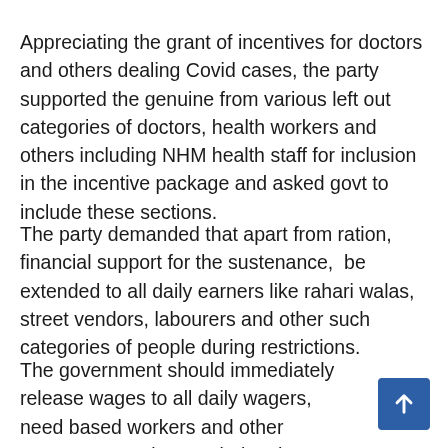Appreciating the grant of incentives for doctors and others dealing Covid cases, the party  supported the genuine from various left out categories of doctors, health workers and others including NHM health staff for inclusion in the incentive package and asked govt to include these sections.
The party demanded that apart from ration,  financial support for the sustenance,  be extended to all daily earners like rahari walas, street vendors, labourers and other such categories of people during restrictions.
The government should immediately release wages to all daily wagers, need based workers and other temporary employees during the period.